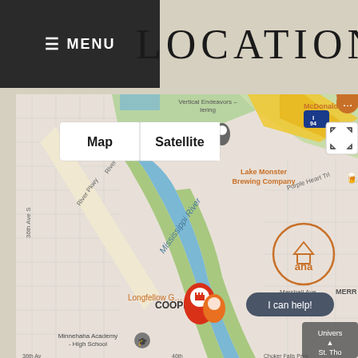≡ MENU
LOCATION
[Figure (map): Google Maps view showing the Mississippi River area in Minneapolis, MN. Visible landmarks include Vertical Endeavors, McDonald's, Lake Monster Brewing Company, Purple Heart Trl, River Pkwy, 36th Ave S, Longfellow area, COOPER neighborhood, Minnehaha Academy High School, Marshall Ave, University of St. Thomas. Map/Satellite toggle buttons visible. A location pin and 'aha' logo marker are shown. 'I can help!' tooltip visible.]